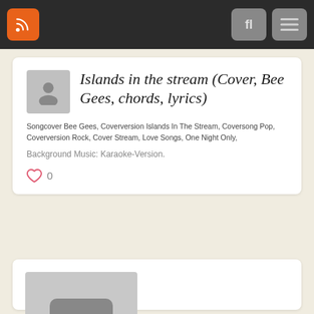Navigation bar with RSS feed button, search button, and menu button
Islands in the stream (Cover, Bee Gees, chords, lyrics)
Songcover Bee Gees, Coverversion Islands In The Stream, Coversong Pop, Coverversion Rock, Cover Stream, Love Songs, One Night Only,
Background Music: Karaoke-Version.
0
[Figure (photo): Placeholder image thumbnail with three dots icon on grey background]